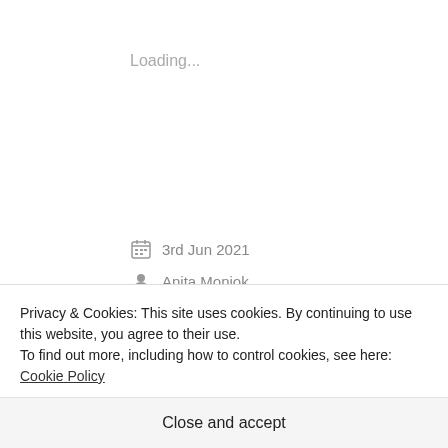Loading...
3rd Jun 2021
Anita Monjok
Faith, Hope, Jesus
Leave a comment
[Figure (illustration): Decorative ornamental divider line with curling flourishes]
Privacy & Cookies: This site uses cookies. By continuing to use this website, you agree to their use.
To find out more, including how to control cookies, see here: Cookie Policy
Close and accept